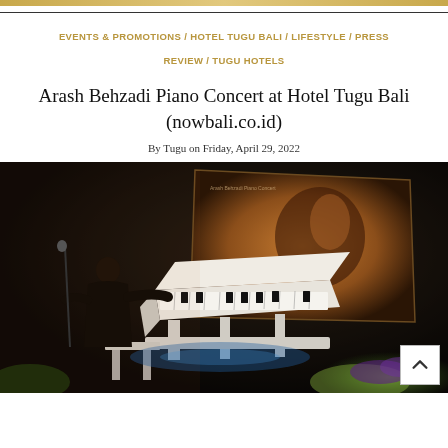EVENTS & PROMOTIONS / HOTEL TUGU BALI / LIFESTYLE / PRESS REVIEW / TUGU HOTELS
Arash Behzadi Piano Concert at Hotel Tugu Bali (nowbali.co.id)
By Tugu on Friday, April 29, 2022
[Figure (photo): Pianist Arash Behzadi performing on a white grand piano at Hotel Tugu Bali at night, with a large projection screen behind him showing an album cover titled 'Heaven's Gate'. The venue is decorated with purple flowers and green plants.]